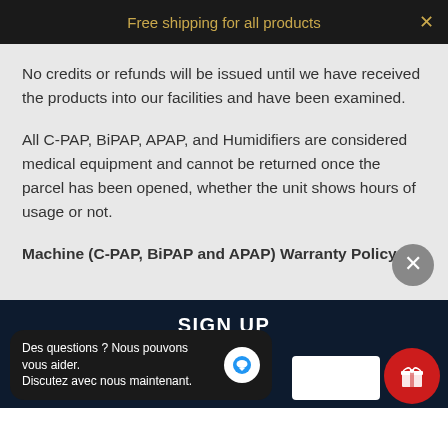Free shipping for all products
No credits or refunds will be issued until we have received the products into our facilities and have been examined.
All C-PAP, BiPAP, APAP, and Humidifiers are considered medical equipment and cannot be returned once the parcel has been opened, whether the unit shows hours of usage or not.
Machine (C-PAP, BiPAP and APAP) Warranty Policy
SIGN UP
Des questions ? Nous pouvons vous aider. Discutez avec nous maintenant.